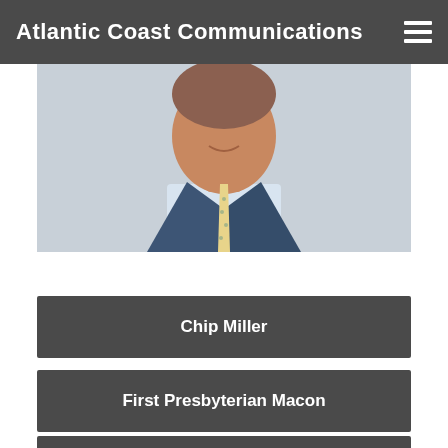Atlantic Coast Communications
[Figure (photo): Portrait photo of a man in a dark blue suit with a yellow tie and light blue checked shirt, smiling, with a light gray background.]
Chip Miller
First Presbyterian Macon